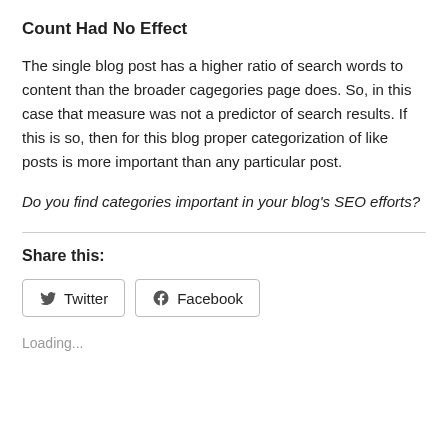Count Had No Effect
The single blog post has a higher ratio of search words to content than the broader cagegories page does. So, in this case that measure was not a predictor of search results. If this is so, then for this blog proper categorization of like posts is more important than any particular post.
Do you find categories important in your blog’s SEO efforts?
Share this:
Loading...